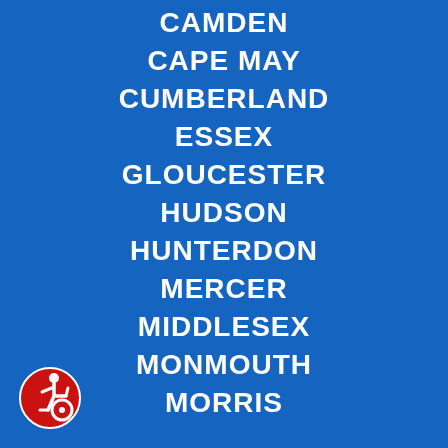CAMDEN
CAPE MAY
CUMBERLAND
ESSEX
GLOUCESTER
HUDSON
HUNTERDON
MERCER
MIDDLESEX
MONMOUTH
MORRIS
[Figure (illustration): Accessibility icon: red circle with white wheelchair user symbol]